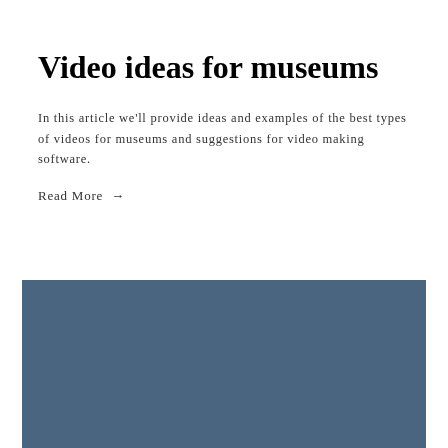Video ideas for museums
In this article we’ll provide ideas and examples of the best types of videos for museums and suggestions for video making software.
Read More →
[Figure (other): A solid dark blue-grey rectangular block filling the lower portion of the page, appearing to be a placeholder image or banner.]